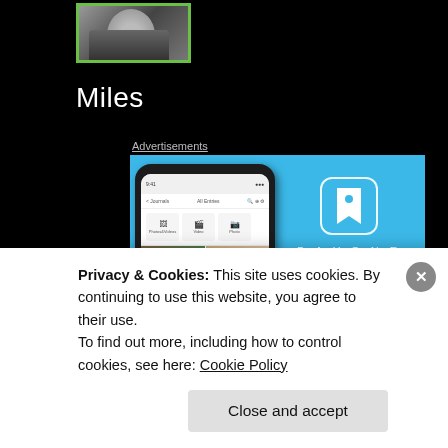[Figure (photo): Partial photo of a person in dark clothing with a green border frame, against black background]
Miles
Advertisements
[Figure (illustration): Day One app advertisement with blue background, showing a smartphone with journal photos and the text DAY ONE - Your Journal for life]
Privacy & Cookies: This site uses cookies. By continuing to use this website, you agree to their use.
To find out more, including how to control cookies, see here: Cookie Policy
Close and accept